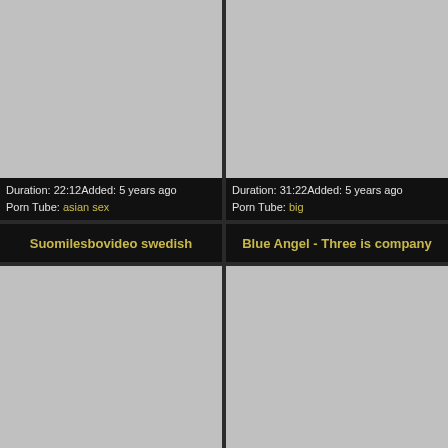[Figure (photo): Gray thumbnail placeholder, top-left video]
Duration: 22:12Added: 5 years ago
Porn Tube: asian sex
[Figure (photo): Gray thumbnail placeholder, top-right video]
Duration: 31:22Added: 5 years ago
Porn Tube: big
Suomilesbovideo swedish
Blue Angel - Three is company
[Figure (photo): Gray thumbnail placeholder, bottom-left video]
[Figure (photo): Gray thumbnail placeholder, bottom-right video]